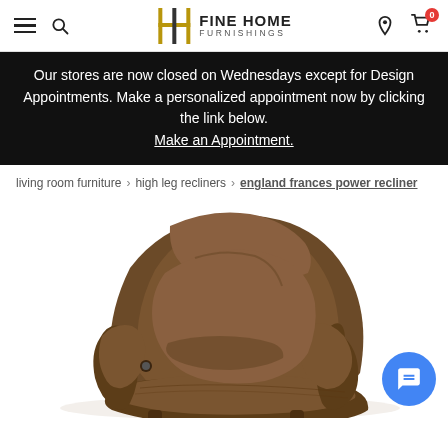Fine Home Furnishings – navigation bar with hamburger menu, search, logo, location, and cart icons
Our stores are now closed on Wednesdays except for Design Appointments. Make a personalized appointment now by clicking the link below. Make an Appointment.
living room furniture > high leg recliners > england frances power recliner
[Figure (photo): A brown leather high-leg recliner chair (England Frances Power Recliner) photographed from a three-quarter front angle on a white background.]